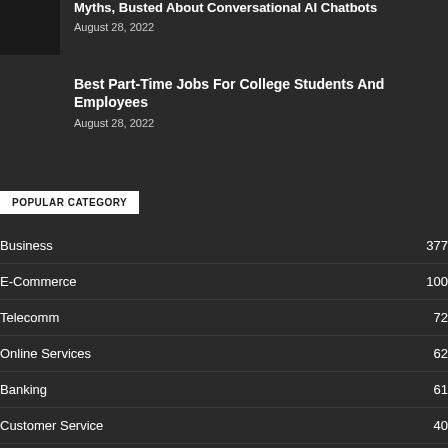Myths, Busted About Conversational AI Chatbots
August 28, 2022
Best Part-Time Jobs For College Students And Employees
August 28, 2022
POPULAR CATEGORY
Business 377
E-Commerce 100
Telecomm 72
Online Services 62
Banking 61
Customer Service 40
Airlines 32